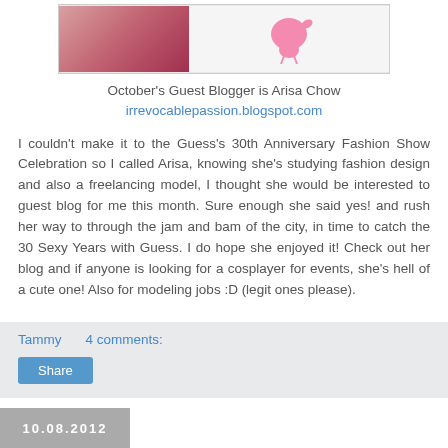[Figure (photo): Blog header image showing a person in red and a pink bird graphic]
October's Guest Blogger is Arisa Chow
irrevocablepassion.blogspot.com
I couldn't make it to the Guess's 30th Anniversary Fashion Show Celebration so I called Arisa, knowing she's studying fashion design and also a freelancing model, I thought she would be interested to guest blog for me this month. Sure enough she said yes! and rush her way to through the jam and bam of the city, in time to catch the 30 Sexy Years with Guess. I do hope she enjoyed it! Check out her blog and if anyone is looking for a cosplayer for events, she's hell of a cute one! Also for modeling jobs :D (legit ones please).
Tammy    4 comments:
Share
10.08.2012